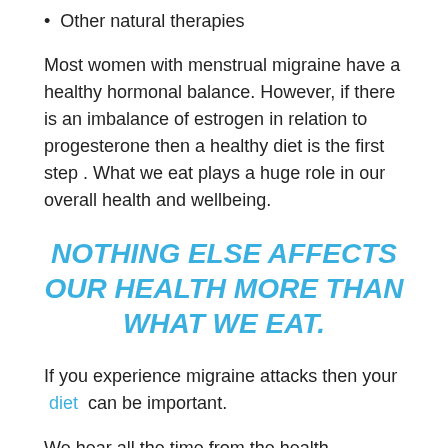Other natural therapies
Most women with menstrual migraine have a healthy hormonal balance. However, if there is an imbalance of estrogen in relation to progesterone then a healthy diet is the first step . What we eat plays a huge role in our overall health and wellbeing.
NOTHING ELSE AFFECTS OUR HEALTH MORE THAN WHAT WE EAT.
If you experience migraine attacks then your diet can be important.
We hear all the time from the health community something like eat a varied and well-balanced diet to help prevent disease. Its been said so many times we can become numb to that to start with...